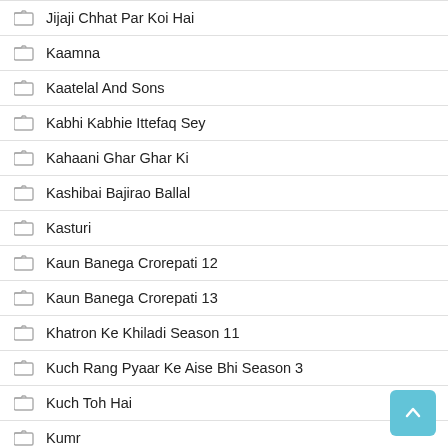Jijaji Chhat Par Koi Hai
Kaamna
Kaatelal And Sons
Kabhi Kabhie Ittefaq Sey
Kahaani Ghar Ghar Ki
Kashibai Bajirao Ballal
Kasturi
Kaun Banega Crorepati 12
Kaun Banega Crorepati 13
Khatron Ke Khiladi Season 11
Kuch Rang Pyaar Ke Aise Bhi Season 3
Kuch Toh Hai
Kumr
Kun